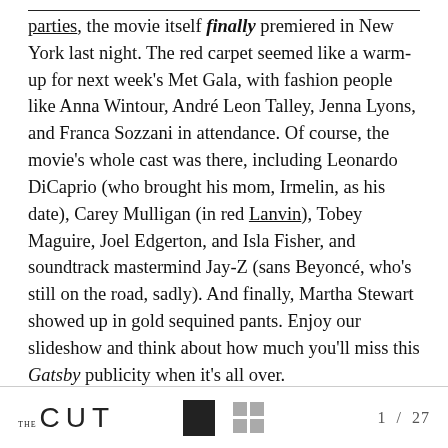parties, the movie itself finally premiered in New York last night. The red carpet seemed like a warm-up for next week's Met Gala, with fashion people like Anna Wintour, André Leon Talley, Jenna Lyons, and Franca Sozzani in attendance. Of course, the movie's whole cast was there, including Leonardo DiCaprio (who brought his mom, Irmelin, as his date), Carey Mulligan (in red Lanvin), Tobey Maguire, Joel Edgerton, and Isla Fisher, and soundtrack mastermind Jay-Z (sans Beyoncé, who's still on the road, sadly). And finally, Martha Stewart showed up in gold sequined pants. Enjoy our slideshow and think about how much you'll miss this Gatsby publicity when it's all over.
THE CUT  1 / 27